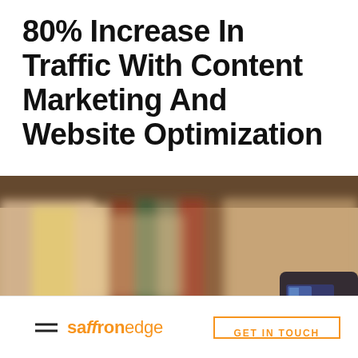80% Increase In Traffic With Content Marketing And Website Optimization
[Figure (photo): Blurred background photo of books on a shelf with a smartphone visible in the lower right corner]
saffronedge  GET IN TOUCH